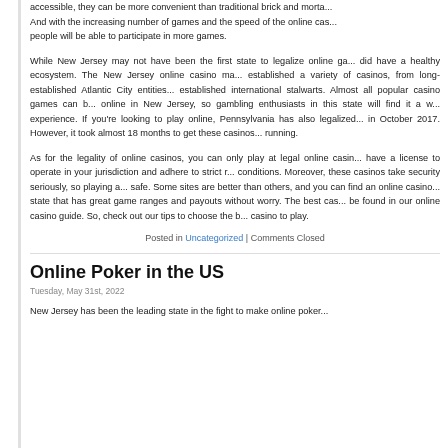accessible, they can be more convenient than traditional brick and mortar. And with the increasing number of games and the speed of the online casino, people will be able to participate in more games.
While New Jersey may not have been the first state to legalize online gambling, it did have a healthy ecosystem. The New Jersey online casino market has established a variety of casinos, from long-established Atlantic City entities to well-established international stalwarts. Almost all popular casino games can be played online in New Jersey, so gambling enthusiasts in this state will find it a welcoming experience. If you're looking to play online, Pennsylvania has also legalized gambling in October 2017. However, it took almost 18 months to get these casinos up and running.
As for the legality of online casinos, you can only play at legal online casinos that have a license to operate in your jurisdiction and adhere to strict regulations and conditions. Moreover, these casinos take security seriously, so playing at them is safe. Some sites are better than others, and you can find an online casino in your state that has great game ranges and payouts without worry. The best casinos can be found in our online casino guide. So, check out our tips to choose the best online casino to play.
Posted in Uncategorized | Comments Closed
Online Poker in the US
Tuesday, May 31st, 2022
New Jersey has been the leading state in the fight to make online poker...